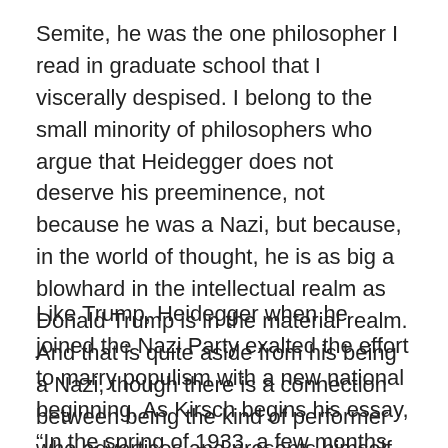Semite, he was the one philosopher I read in graduate school that I viscerally despised. I belong to the small minority of philosophers who argue that Heidegger does not deserve his preeminence, not because he was a Nazi, but because, in the world of thought, he is as big a blowhard in the intellectual realm as Donald Trump is in the material realm. And that is quite aside from his being a Nazi, though there is a connection between being the kind of performer who advertises and presents himself as being better than anyone around.
Like Trump, Heidegger when he joined the Nazi Party exalted the effort to marry populism with a new national beginning. As Kirsch begins his essay, “In the spring of 1933, a few months after Hitler took power, Heidegger joined the Nazi Party and was elected rector of Freiburg